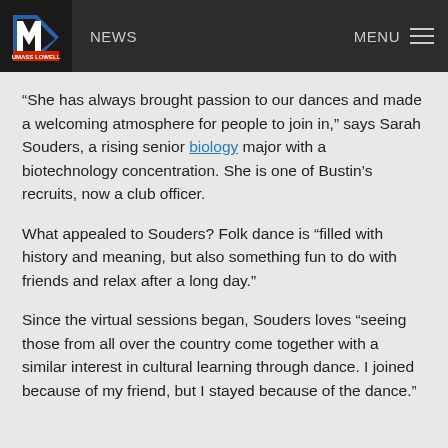UMass Lowell NEWS | MENU
“She has always brought passion to our dances and made a welcoming atmosphere for people to join in,” says Sarah Souders, a rising senior biology major with a biotechnology concentration. She is one of Bustin’s recruits, now a club officer.
What appealed to Souders? Folk dance is “filled with history and meaning, but also something fun to do with friends and relax after a long day.”
Since the virtual sessions began, Souders loves “seeing those from all over the country come together with a similar interest in cultural learning through dance. I joined because of my friend, but I stayed because of the dance.”